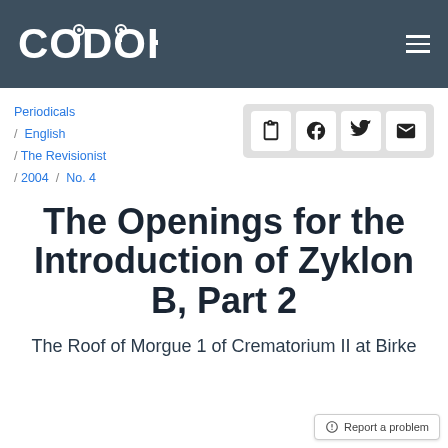CODOH
Periodicals / English / The Revisionist / 2004 / No. 4
The Openings for the Introduction of Zyklon B, Part 2
The Roof of Morgue 1 of Crematorium II at Birke...